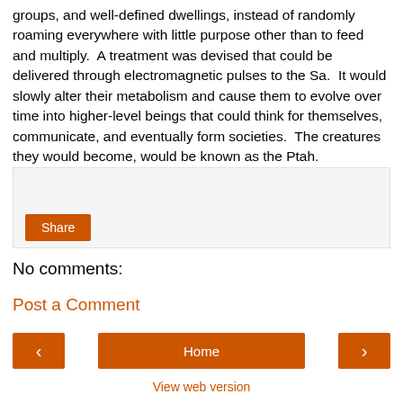groups, and well-defined dwellings, instead of randomly roaming everywhere with little purpose other than to feed and multiply.  A treatment was devised that could be delivered through electromagnetic pulses to the Sa.  It would slowly alter their metabolism and cause them to evolve over time into higher-level beings that could think for themselves, communicate, and eventually form societies.  The creatures they would become, would be known as the Ptah.
[Figure (other): Comment input box area with a Share button]
No comments:
Post a Comment
[Figure (other): Navigation bar with previous arrow button, Home button, and next arrow button]
View web version